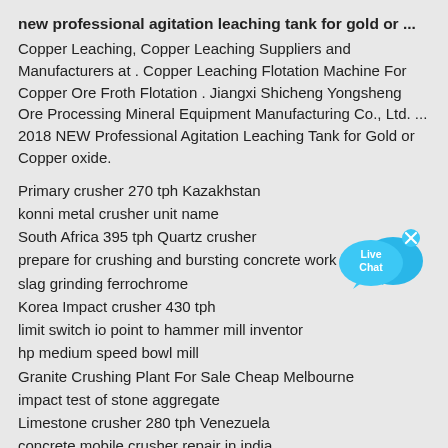new professional agitation leaching tank for gold or ...
Copper Leaching, Copper Leaching Suppliers and Manufacturers at . Copper Leaching Flotation Machine For Copper Ore Froth Flotation . Jiangxi Shicheng Yongsheng Ore Processing Mineral Equipment Manufacturing Co., Ltd. ... 2018 NEW Professional Agitation Leaching Tank for Gold or Copper oxide.
Primary crusher 270 tph Kazakhstan
konni metal crusher unit name
South Africa 395 tph Quartz crusher
prepare for crushing and bursting concrete work pdf
slag grinding ferrochrome
Korea Impact crusher 430 tph
limit switch io point to hammer mill inventor
hp medium speed bowl mill
Granite Crushing Plant For Sale Cheap Melbourne
impact test of stone aggregate
Limestone crusher 280 tph Venezuela
concrete mobile crusher repair in india
cobblestone grinding plant machine sale
vibrating crusher model daya
cheapest gold ore crushing and processing
ball mill for chemical industries rod mill gold ores china
175 tph Coal crusher Fiji
[Figure (illustration): Live Chat button: two overlapping speech bubble shapes in cyan/teal blue with 'Live Chat' text in white, and a small 'x' close button in the top right corner.]